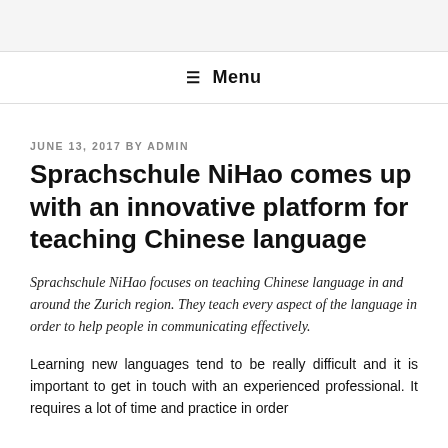≡ Menu
JUNE 13, 2017 BY ADMIN
Sprachschule NiHao comes up with an innovative platform for teaching Chinese language
Sprachschule NiHao focuses on teaching Chinese language in and around the Zurich region. They teach every aspect of the language in order to help people in communicating effectively.
Learning new languages tend to be really difficult and it is important to get in touch with an experienced professional. It requires a lot of time and practice in order